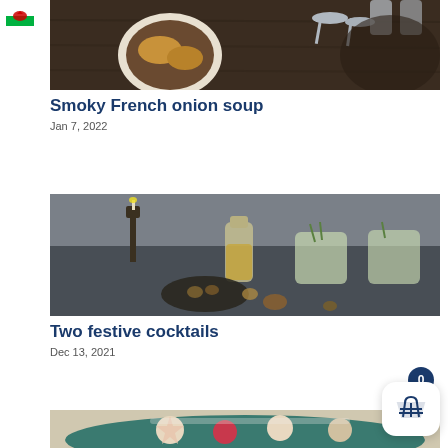[Figure (photo): Overhead photo of French onion soup in a white bowl on a dark wooden table with spoons]
Smoky French onion soup
Jan 7, 2022
[Figure (photo): Table scene with cocktail glasses, a candle, walnuts, and festive drinks on dark linen]
Two festive cocktails
Dec 13, 2021
[Figure (photo): Partial view of cookies on a green plate (cropped at bottom of page)]